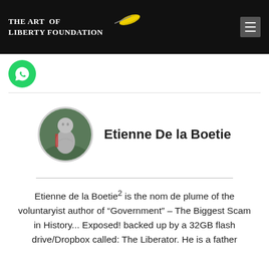The Art of Liberty Foundation
[Figure (logo): WhatsApp chat button - green circle with WhatsApp logo]
[Figure (photo): Circular avatar photo of a stone statue of Etienne de la Boetie]
Etienne De la Boetie
Etienne de la Boetie² is the nom de plume of the voluntaryist author of “Government” – The Biggest Scam in History... Exposed! backed up by a 32GB flash drive/Dropbox called: The Liberator. He is a father